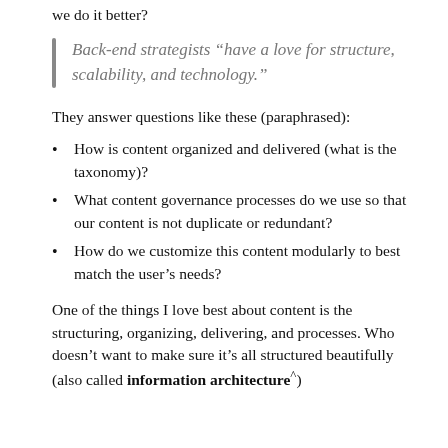we do it better?
Back-end strategists “have a love for structure, scalability, and technology.”
They answer questions like these (paraphrased):
How is content organized and delivered (what is the taxonomy)?
What content governance processes do we use so that our content is not duplicate or redundant?
How do we customize this content modularly to best match the user’s needs?
One of the things I love best about content is the structuring, organizing, delivering, and processes. Who doesn’t want to make sure it’s all structured beautifully (also called information architecture^)